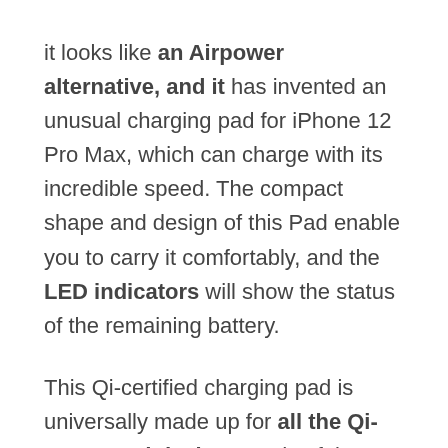it looks like an Airpower alternative, and it has invented an unusual charging pad for iPhone 12 Pro Max, which can charge with its incredible speed. The compact shape and design of this Pad enable you to carry it comfortably, and the LED indicators will show the status of the remaining battery.
This Qi-certified charging pad is universally made up for all the Qi-supported devices, and safely you can charge an iPhone without overheating or shock. In addition, it will improve the efficiency of the device.